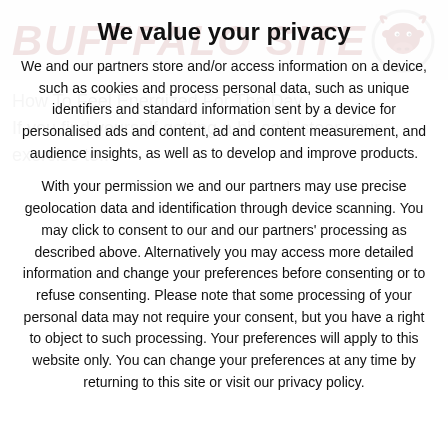[Figure (logo): Buffalo Site logo with red stylized text 'BUFFALO SITE' and a bull head icon in a circle on the right, on a light gray background]
We value your privacy
We and our partners store and/or access information on a device, such as cookies and process personal data, such as unique identifiers and standard information sent by a device for personalised ads and content, ad and content measurement, and audience insights, as well as to develop and improve products.
With your permission we and our partners may use precise geolocation data and identification through device scanning. You may click to consent to our and our partners' processing as described above. Alternatively you may access more detailed information and change your preferences before consenting or to refuse consenting. Please note that some processing of your personal data may not require your consent, but you have a right to object to such processing. Your preferences will apply to this website only. You can change your preferences at any time by returning to this site or visit our privacy policy.